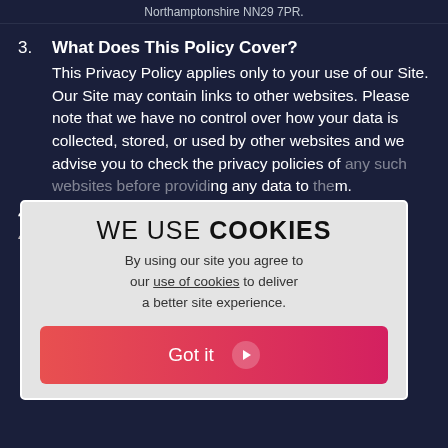Northamptonshire NN29 7PR.
3. What Does This Policy Cover?
This Privacy Policy applies only to your use of our Site. Our Site may contain links to other websites. Please note that we have no control over how your data is collected, stored, or used by other websites and we advise you to check the privacy policies of any such websites before providing any data to them.
4. Your Rights
4.1 As a data subject, you have the following rights under the GDPR, which this Policy and our use of personal data has been designed to uphold:
[Figure (infographic): Cookie consent popup overlay with title 'WE USE COOKIES', body text 'By using our site you agree to our use of cookies to deliver a better site experience.' and a red 'Got it' button with arrow.]
4.1.1 The right to be informed about our